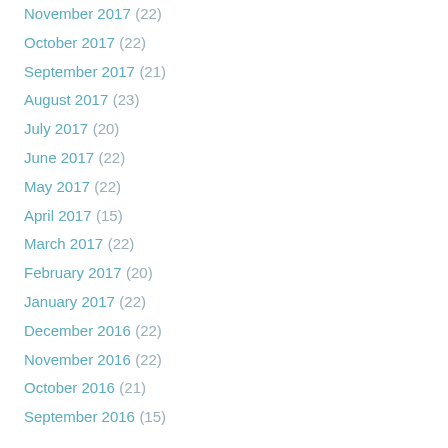November 2017 (22)
October 2017 (22)
September 2017 (21)
August 2017 (23)
July 2017 (20)
June 2017 (22)
May 2017 (22)
April 2017 (15)
March 2017 (22)
February 2017 (20)
January 2017 (22)
December 2016 (22)
November 2016 (22)
October 2016 (21)
September 2016 (15)
CATEGORIES
Breaking the Cycle (49)